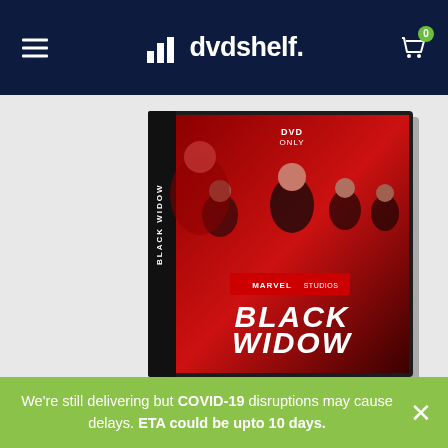dvdshelf.
[Figure (photo): Black Widow Marvel Studios DVD case product photo showing movie cover art with Scarlett Johansson as Black Widow and other characters on a red background. Text reads 'DVD ONLY', 'MARVEL STUDIOS', 'BLACK WIDOW'.]
We're still delivering but COVID-19 disruptions may cause delays. ETA could be upto 10 days.